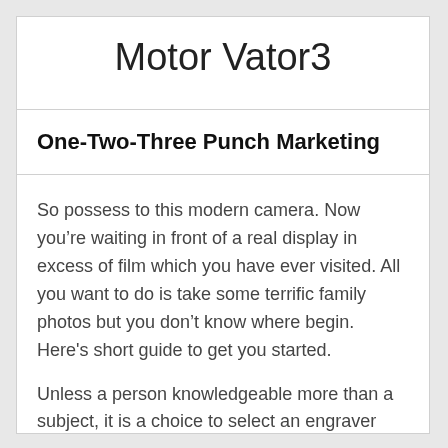Motor Vator3
One-Two-Three Punch Marketing
So possess to this modern camera. Now you’re waiting in front of a real display in excess of film which you have ever visited. All you want to do is take some terrific family photos but you don’t know where begin. Here's short guide to get you started.
Unless a person knowledgeable more than a subject, it is a choice to select an engraver before you purchase your item. The engraver can explain to you before you buy as about